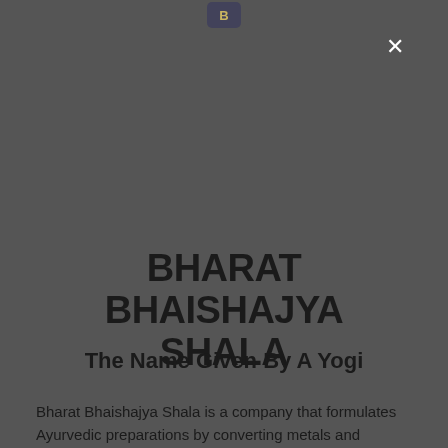[Figure (logo): Small circular logo/emblem at the top center of the page]
BHARAT BHAISHAJYA SHALA
The Name Given By A Yogi
Bharat Bhaishajya Shala is a company that formulates Ayurvedic preparations by converting metals and substances of plant and